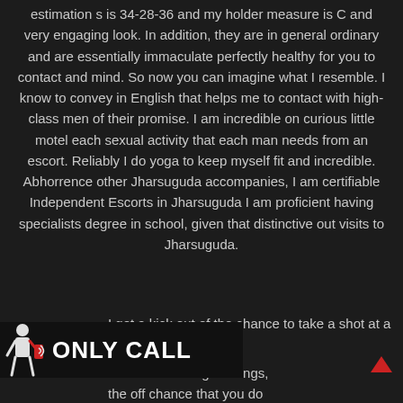estimation s is 34-28-36 and my holder measure is C and very engaging look. In addition, they are in general ordinary and are essentially immaculate perfectly healthy for you to contact and mind. So now you can imagine what I resemble. I know to convey in English that helps me to contact with high-class men of their promise. I am incredible on curious little motel each sexual activity that each man needs from an escort. Reliably I do yoga to keep myself fit and incredible. Abhorrence other Jharsuguda accompanies, I am certifiable Independent Escorts in Jharsuguda I am proficient having specialists degree in school, given that distinctive out visits to Jharsuguda.
I get a kick out of the chance to take a shot at a
[Figure (illustration): A figure of a person holding a phone with sound waves, next to bold white text reading 'ONLY CALL' on a dark background banner]
t accessible for gatherings, the off chance that you do